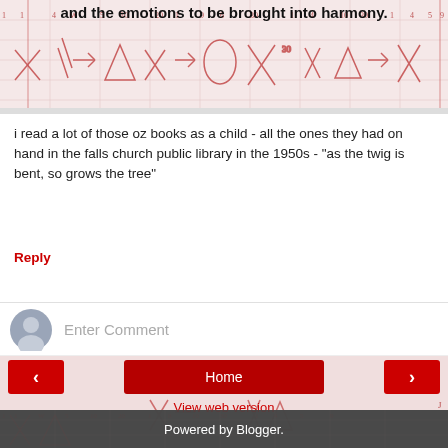[Figure (illustration): Notebook/graph paper background with red hand-drawn geometric symbols (crosses, triangles, arrows) repeated in a grid pattern, visible at top and bottom of page.]
and the emotions to be brought into harmony.
i read a lot of those oz books as a child - all the ones they had on hand in the falls church public library in the 1950s - "as the twig is bent, so grows the tree"
Reply
Enter Comment
Home
View web version
Powered by Blogger.